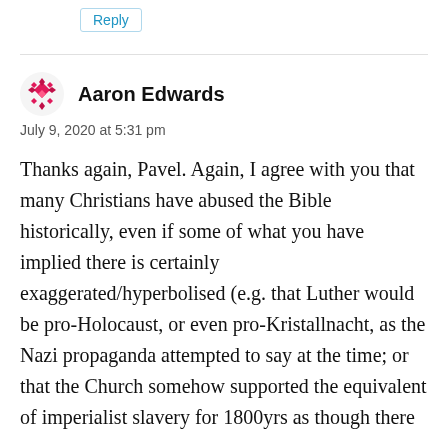Reply
Aaron Edwards
July 9, 2020 at 5:31 pm
Thanks again, Pavel. Again, I agree with you that many Christians have abused the Bible historically, even if some of what you have implied there is certainly exaggerated/hyperbolised (e.g. that Luther would be pro-Holocaust, or even pro-Kristallnacht, as the Nazi propaganda attempted to say at the time; or that the Church somehow supported the equivalent of imperialist slavery for 1800yrs as though there